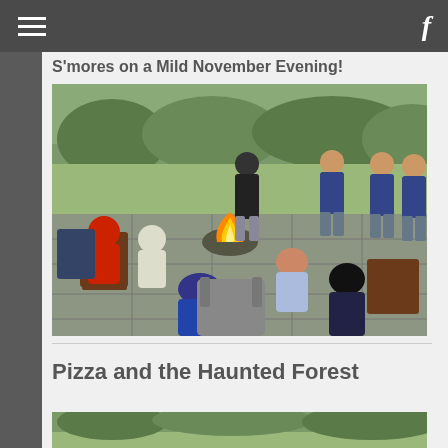Navigation bar with hamburger menu and Facebook icon
S'mores on a Mild November Evening!
[Figure (photo): Group of teenagers gathered around a fire pit on a stone patio outdoors, making s'mores. Some are seated in chairs, some on the ground, others standing in background on a lawn.]
Pizza and the Haunted Forest
[Figure (photo): Partial view of another outdoor photo, cropped at bottom of page.]